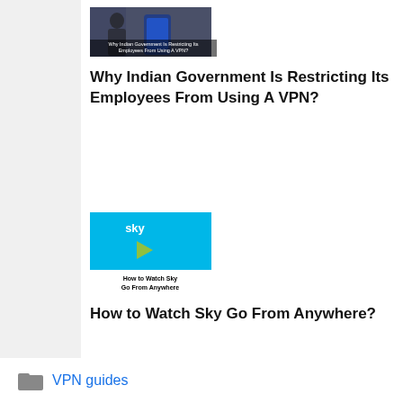[Figure (photo): Thumbnail image for article about Indian Government restricting VPN use by employees]
Why Indian Government Is Restricting Its Employees From Using A VPN?
[Figure (screenshot): Sky Go thumbnail showing how to watch Sky Go from anywhere]
How to Watch Sky Go From Anywhere?
[Figure (logo): Google Play logo thumbnail with text How to Change Your Location On Play Store]
How to Change Your Location on Google Playstore?
VPN guides